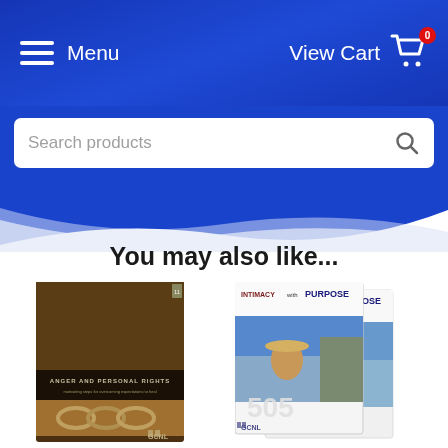Menu   View Cart 0
Search products
You may also like...
[Figure (photo): Book cover: ANGER AND PERSONAL RIGHTS - showing chains image, dark brown cover with GCNL logo]
[Figure (photo): Two overlapping book covers: INTIMACY with PURPOSE - Connecting with Others, number 505, GCNL publisher]